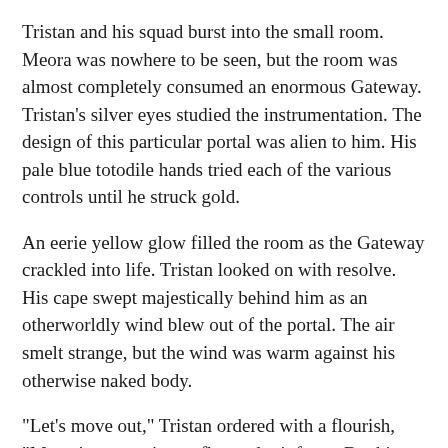Tristan and his squad burst into the small room. Meora was nowhere to be seen, but the room was almost completely consumed an enormous Gateway. Tristan's silver eyes studied the instrumentation. The design of this particular portal was alien to him. His pale blue totodile hands tried each of the various controls until he struck gold.
An eerie yellow glow filled the room as the Gateway crackled into life. Tristan looked on with resolve. His cape swept majestically behind him as an otherworldly wind blew out of the portal. The air smelt strange, but the wind was warm against his otherwise naked body.
"Let's move out," Tristan ordered with a flourish, "Meora's attempting to flee and reinforce. But his reign is ending—he's just playing for time." With the pep talk complete, Tristan and his squad of charmanders entered the Gateway.
***
Within moments, it became clear to the party that the world beyond the Gateway was neither Earth nor Eden. They were standing in an apartment of some kind with daring dark wooden and obsidian décor. Strange plants and uncomfortable-looking furniture filled the room. Wogan, Tristan's trusted charmander aid